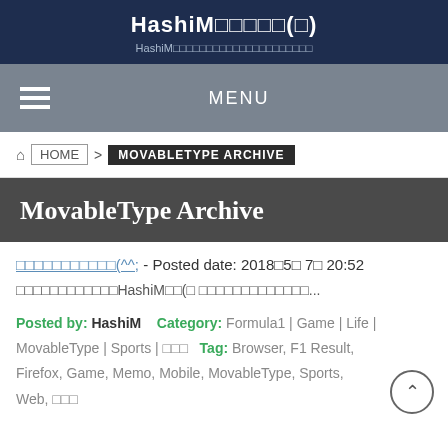HashiM□□□□□(□)
HashiM□□□□□□□□□□□□□□□□□□□□□
MENU
HOME > MOVABLETYPE ARCHIVE
MovableType Archive
□□□□□□□□□□□(^^; - Posted date: 2018□5□ 7□ 20:52
□□□□□□□□□□□□HashiM□□(□ □□□□□□□□□□□□□...
Posted by: HashiM   Category: Formula1 | Game | Life | MovableType | Sports | □□□   Tag: Browser, F1 Result, Firefox, Game, Memo, Mobile, MovableType, Sports, Web, □□□